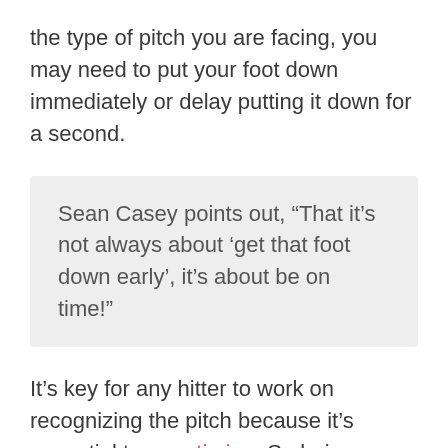the type of pitch you are facing, you may need to put your foot down immediately or delay putting it down for a second.
Sean Casey points out, “That it’s not always about ‘get that foot down early’, it’s about be on time!”
It’s key for any hitter to work on recognizing the pitch because it’s essential to your timing. So being on time at the plate is all about recognizing the pitch you are facing. If